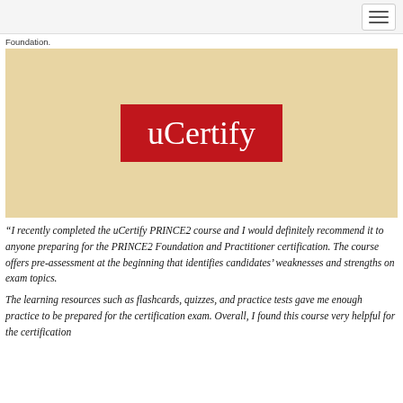Foundation.
[Figure (logo): uCertify logo: white serif text 'uCertify' on a dark red/crimson rectangular background, centered on a tan/beige square background]
“I recently completed the uCertify PRINCE2 course and I would definitely recommend it to anyone preparing for the PRINCE2 Foundation and Practitioner certification. The course offers pre-assessment at the beginning that identifies candidates’ weaknesses and strengths on exam topics.
The learning resources such as flashcards, quizzes, and practice tests gave me enough practice to be prepared for the certification exam. Overall, I found this course very helpful for the certification